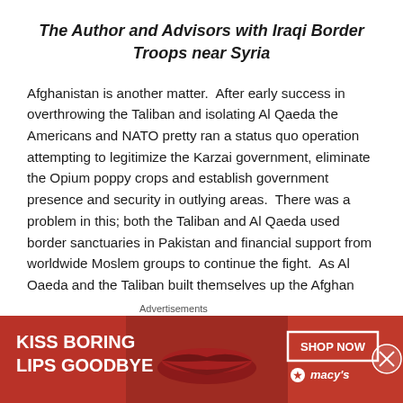The Author and Advisors with Iraqi Border Troops near Syria
Afghanistan is another matter.  After early success in overthrowing the Taliban and isolating Al Qaeda the Americans and NATO pretty ran a status quo operation attempting to legitimize the Karzai government, eliminate the Opium poppy crops and establish government presence and security in outlying areas.  There was a problem in this; both the Taliban and Al Qaeda used border sanctuaries in Pakistan and financial support from worldwide Moslem groups to continue the fight.  As Al Oaeda and the Taliban built themselves up the Afghan
Advertisements
[Figure (photo): Advertisement banner: KISS BORING LIPS GOODBYE with SHOP NOW button and Macys logo on red background with woman's lips image]